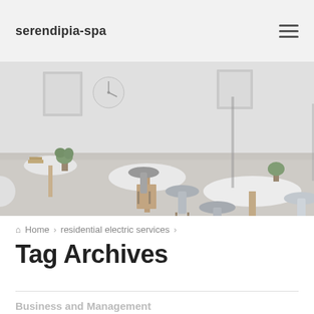serendipia-spa
[Figure (photo): Interior photo of a modern cafe or co-working space with white round tables, Eames-style chairs in gray and white, wood legs, a small plant, a clock on the wall, and framed artwork. Muted, light gray tones.]
Home > residential electric services >
Tag Archives
Business and Management